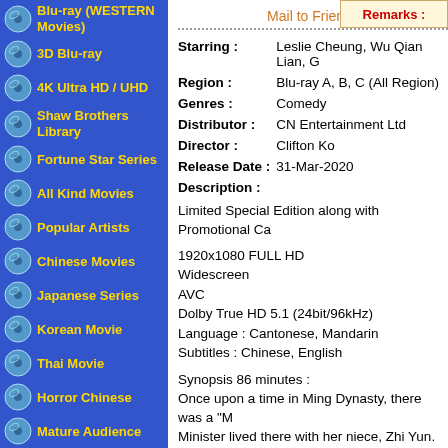Blu-ray (WESTERN Movies)
3D Blu-ray
4K Ultra HD / UHD
Shaw Brothers Library
Fortune Star Series
All Kind Movies
Popular Artists
Chinese Movies
Japanese Series
Korean Movie
Thai Movie
Horror Chinese
Mature Audience
Others/Foreign
Western
Animation
Remastered Blu-Ray
Remarks :
Mail to Friends
| Field | Value |
| --- | --- |
| Starring : | Leslie Cheung, Wu Qian Lian, G |
| Region : | Blu-ray A, B, C (All Region) |
| Genres : | Comedy |
| Distributor : | CN Entertainment Ltd |
| Director : | Clifton Ko |
| Release Date : | 31-Mar-2020 |
Description :
Limited Special Edition along with Promotional Ca
1920x1080 FULL HD
Widescreen
AVC
Dolby True HD 5.1 (24bit/96kHz)
Language : Cantonese, Mandarin
Subtitles : Chinese, English
Synopsis 86 minutes :
Once upon a time in Ming Dynasty, there was a "M..."
Minister lived there with her niece, Zhi Yun. Zhi Tu...
hearts out to him. One day, Zhi Yun was standing...
downstairs. She dropped her fan and it broke. In s...